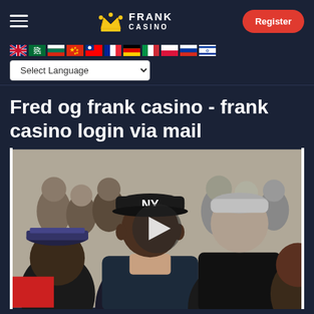FRANK CASINO — Register
Select Language
Fred og frank casino - frank casino login via mail
[Figure (photo): Video thumbnail showing a group of people at an event, with a play button overlay in the center. Two men are prominently featured posing together, one wearing a NY Yankees cap.]